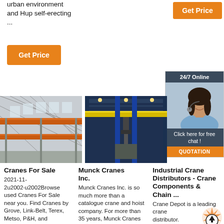urban environment and Hup self-erecting ...
[Figure (other): Orange 'Get Price' button (top right)]
[Figure (other): Orange 'Get Price' button (left)]
[Figure (other): 24/7 Online chat box with customer service representative image, 'Click here for free chat!' and QUOTATION button]
[Figure (photo): Industrial overhead crane inside large warehouse with orange girders and steel roof structure]
[Figure (photo): Overhead crane in industrial facility with yellow and blue structure]
Cranes For Sale
2021-11-2u2002·u2002Browse used Cranes For Sale near you. Find Cranes by Grove, Link-Belt, Terex, Metso, P&H, and
Munck Cranes Inc.
Munck Cranes Inc. is so much more than a catalogue crane and hoist company. For more than 35 years, Munck Cranes has
Industrial Crane Distributors - Crane Components & Chain ...
Crane Depot is a leading crane distributor.